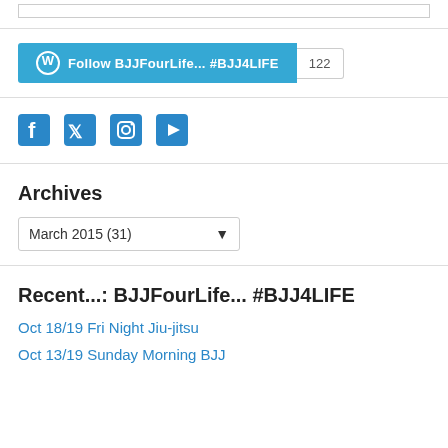[Figure (screenshot): WordPress follow button showing 'Follow BJJFourLife... #BJJ4LIFE' with count 122]
[Figure (screenshot): Social media icons: Facebook, Twitter, Instagram, YouTube]
Archives
[Figure (screenshot): Dropdown select showing 'March 2015 (31)']
Recent...: BJJFourLife... #BJJ4LIFE
Oct 18/19 Fri Night Jiu-jitsu
Oct 13/19 Sunday Morning BJJ